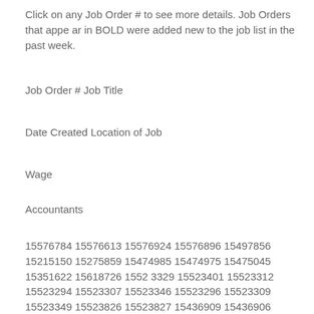Click on any Job Order # to see more details. Job Orders that appear in BOLD were added new to the job list in the past week.
Job Order # Job Title
Date Created Location of Job
Wage
Accountants
15576784 15576613 15576924 15576896 15497856 15215150 15275859 15474985 15474975 15475045 15351622 15618726 15523329 15523401 15523312 15523294 15523307 15523346 15523296 15523309 15523349 15523826 15523827 15436909 15436906 15531978 15539397 15540508 15209833 15540273 15532028 15532008 15532040 15364239 15442203 15198689 15310021 15486121 15442574 15309920 15485549 15497861
Account Receivable & Payroll Coordinator Staff Accountant IT Help Desk Technician Accounting Manager Project Manager Solutions A